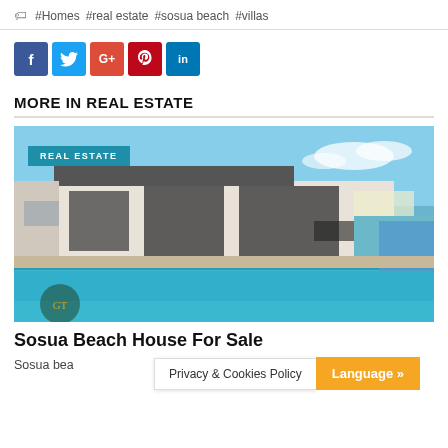#Homes #real estate #sosua beach #villas
[Figure (other): Social sharing buttons: Facebook (blue), Twitter (light blue), Google+ (red-orange), Pinterest (dark red), LinkedIn (blue)]
MORE IN REAL ESTATE
[Figure (photo): Photo of a modern villa with a swimming pool. A 'REAL ESTATE' badge is overlaid in the top left corner, and a gold logo badge in the bottom left.]
Sosua Beach House For Sale
Sosua bea... For sale
Privacy & Cookies Policy
Language »